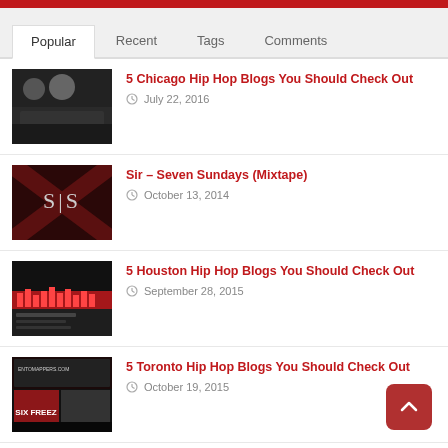Popular | Recent | Tags | Comments
5 Chicago Hip Hop Blogs You Should Check Out — July 22, 2016
Sir – Seven Sundays (Mixtape) — October 13, 2014
5 Houston Hip Hop Blogs You Should Check Out — September 28, 2015
5 Toronto Hip Hop Blogs You Should Check Out — October 19, 2015
Rich The Kid & Kendrick Lamar came thru with the futuristic whips in 'New Freezer'